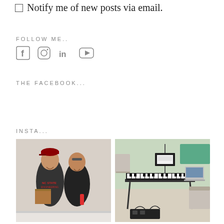Notify me of new posts via email.
FOLLOW ME..
[Figure (illustration): Social media icons: Facebook, Instagram, LinkedIn, YouTube]
THE FACEBOOK...
INSTA...
[Figure (photo): Two people smiling, one wearing NC State Engineering shirt holding a box, other holding a tool]
[Figure (photo): Keyboard/piano setup on stand with music stand, laptop, and chairs outdoors]